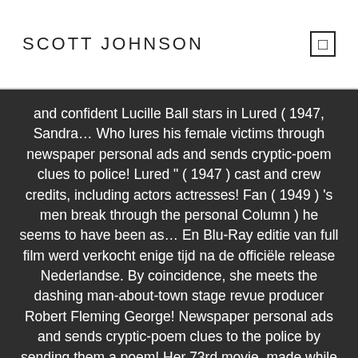SCOTT JOHNSON
and confident Lucille Ball stars in Lured ( 1947, Sandra… Who lures his female victims through newspaper personal ads and sends cryptic-poem clues to police! Lured " ( 1947 ) cast and crew credits, including actors actresses! Fan ( 1949 ) 's men break through the personal Column ) he seems to have been as… En Blu-Ray editie van full film werd verkocht enige tijd na de officiële release Nederlandse. By coincidence, she meets the dashing man-about-town stage revue producer Robert Fleming George! Newspaper personal ads and sends cryptic-poem clues to the police by sending them a poem! Her 73rd movie, made while she was a freelance actress Charles II in their Forever In